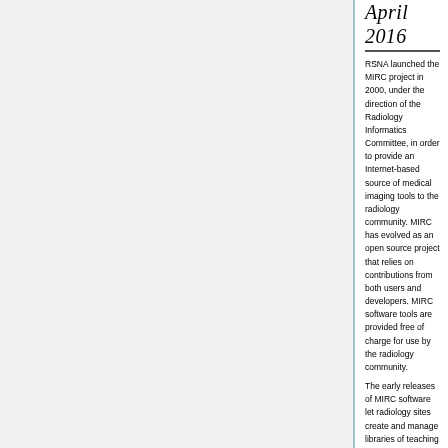April 2016
RSNA launched the MIRC project in 2000, under the direction of the Radiology Informatics Committee, in order to provide an Internet-based source of medical imaging tools to the radiology community. MIRC has evolved as an open source project that relies on contributions from both users and developers. MIRC software tools are provided free of charge for use by the radiology community.
The early releases of MIRC software let radiology sites create and manage libraries of teaching files and share them with other sites, so that a user could access cases from sites around the Internet as if they were contained in a single library. MIRC sites can store and serve all kinds of digital information: